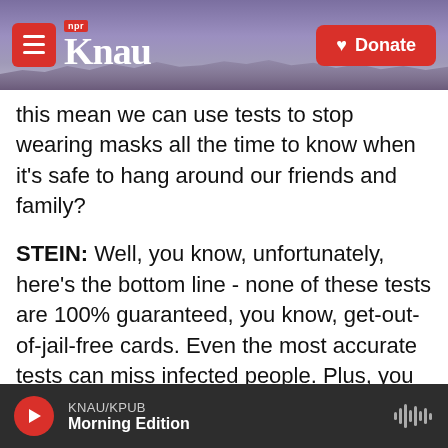KNAU / NPR — Donate
this mean we can use tests to stop wearing masks all the time to know when it's safe to hang around our friends and family?
STEIN: Well, you know, unfortunately, here's the bottom line - none of these tests are 100% guaranteed, you know, get-out-of-jail-free cards. Even the most accurate tests can miss infected people. Plus, you know, it can only tell you whether or not you're infected at the moment you got the test. You could have caught that virus on your way home. So, you know, it's dangerous to rely on just one negative test, especially to do something like,
KNAU/KPUB Morning Edition